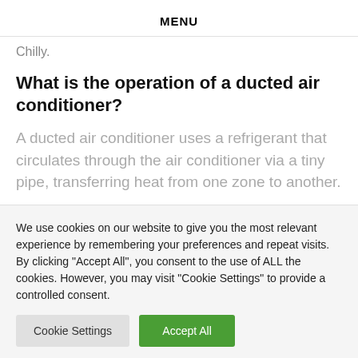MENU
Chilly.
What is the operation of a ducted air conditioner?
A ducted air conditioner uses a refrigerant that circulates through the air conditioner via a tiny pipe, transferring heat from one zone to another.
We use cookies on our website to give you the most relevant experience by remembering your preferences and repeat visits. By clicking "Accept All", you consent to the use of ALL the cookies. However, you may visit "Cookie Settings" to provide a controlled consent.